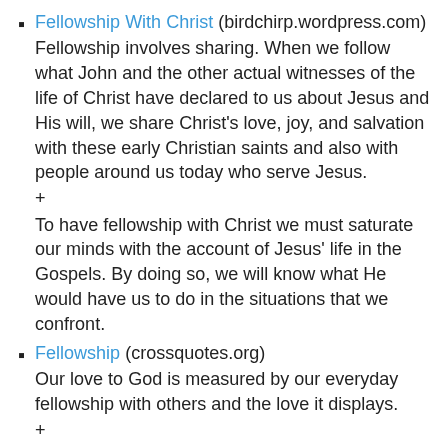Fellowship With Christ (birdchirp.wordpress.com) Fellowship involves sharing. When we follow what John and the other actual witnesses of the life of Christ have declared to us about Jesus and His will, we share Christ's love, joy, and salvation with these early Christian saints and also with people around us today who serve Jesus. + To have fellowship with Christ we must saturate our minds with the account of Jesus' life in the Gospels. By doing so, we will know what He would have us to do in the situations that we confront.
Fellowship (crossquotes.org) Our love to God is measured by our everyday fellowship with others and the love it displays. +